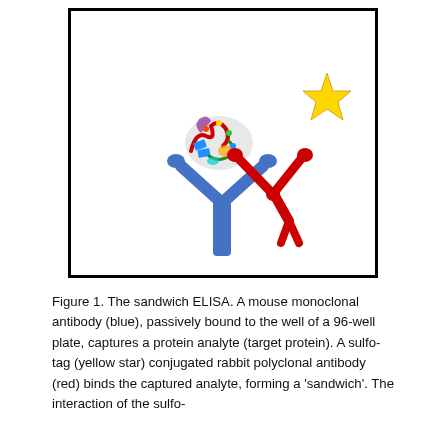[Figure (illustration): Sandwich ELISA illustration showing a blue Y-shaped mouse monoclonal antibody bound to the bottom of a well, capturing a multicolored protein analyte (target protein), which is in turn bound by a red Y-shaped rabbit polyclonal antibody conjugated to a yellow star (sulfo-tag). The image is framed by a black-bordered rectangle representing a 96-well plate cross-section.]
Figure 1. The sandwich ELISA. A mouse monoclonal antibody (blue), passively bound to the well of a 96-well plate, captures a protein analyte (target protein). A sulfo-tag (yellow star) conjugated rabbit polyclonal antibody (red) binds the captured analyte, forming a 'sandwich'. The interaction of the sulfo-